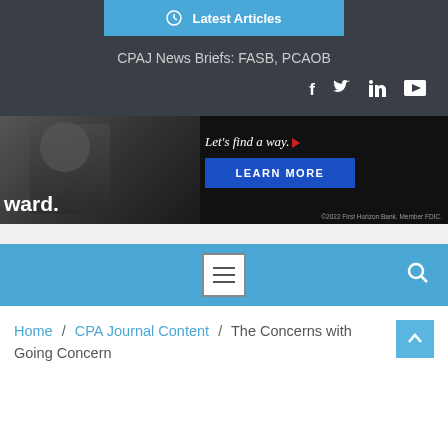Latest Articles
CPAJ News Briefs: FASB, PCAOB
[Figure (screenshot): Advertisement banner for First Horizon Bank with the text 'ward.', 'Let's find a way.' with a red arrow, a blue 'LEARN MORE' button, and a copyright note '©2022 First Horizon Bank. Member FDIC.']
[Figure (screenshot): Blue navigation bar with a hamburger menu icon (three horizontal lines in a white box) in the center and a search icon on the right.]
Home / CPA Journal Content / The Concerns with Going Concern